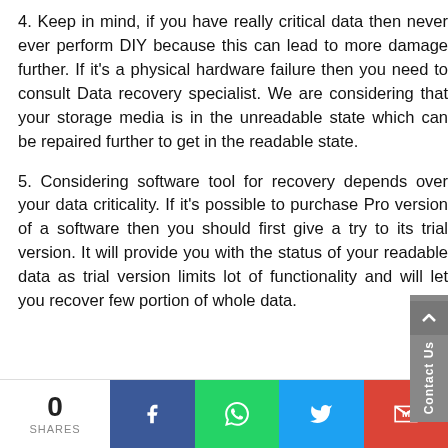4. Keep in mind, if you have really critical data then never ever perform DIY because this can lead to more damage further. If it's a physical hardware failure then you need to consult Data recovery specialist. We are considering that your storage media is in the unreadable state which can be repaired further to get in the readable state.
5. Considering software tool for recovery depends over your data criticality. If it's possible to purchase Pro version of a software then you should first give a try to its trial version. It will provide you with the status of your readable data as trial version limits lot of functionality and will let you recover few portion of whole data.